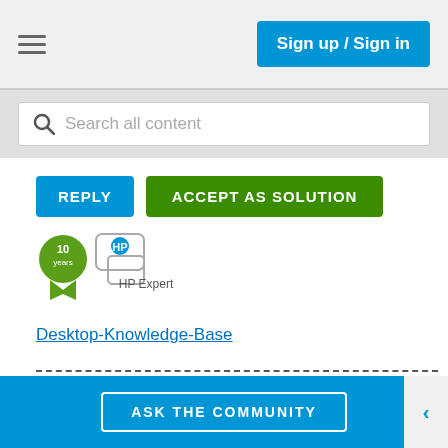Sign up / Sign in
Search all content
[Figure (screenshot): REPLY button (blue) and ACCEPT AS SOLUTION button (green)]
[Figure (logo): 10 years badge and HP Expert icon]
Desktop-Knowledge-Base
--- dashed line separator 1
--- dashed line separator 2
Was this reply helpful?
YES
NO
ASK THE COMMUNITY